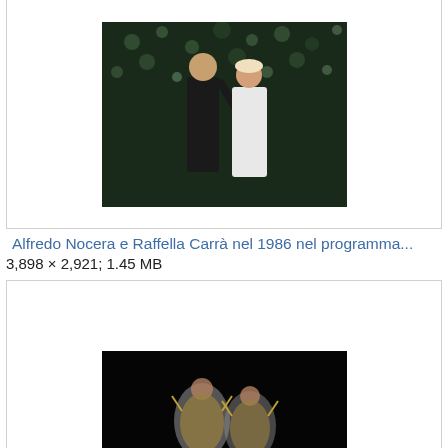[Figure (photo): Two people on stage with dark background with lights — Alfredo Nocera e Raffella Carrà 1986]
Alfredo Nocera e Raffella Carrà nel 1986 nel programma...
3,898 × 2,921; 1.45 MB
[Figure (photo): Two performers in wheelchair dance costumes on dark stage — Alice Sheppard and Laurel Lawson]
Alice Sheppard and Laurel Lawson perform "Excerpt fro...
2,176 × 1,451; 494 KB
[Figure (photo): Partially visible image at bottom of page]